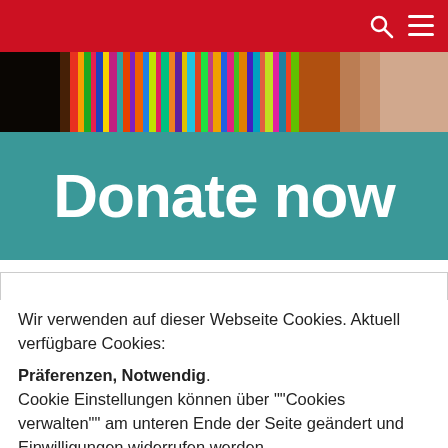[Figure (screenshot): Website screenshot showing a red navigation bar with search and menu icons at top, a colorful photo of a person wearing beaded jewelry, and a teal/green banner with 'Donate now' in large white bold text.]
Wir verwenden auf dieser Webseite Cookies. Aktuell verfügbare Cookies:
Präferenzen, Notwendig. Cookie Einstellungen können über ""Cookies verwalten"" am unteren Ende der Seite geändert und Einwilligungen widerrufen werden.
Ok  Ablehnen  Mehr erfahren.......